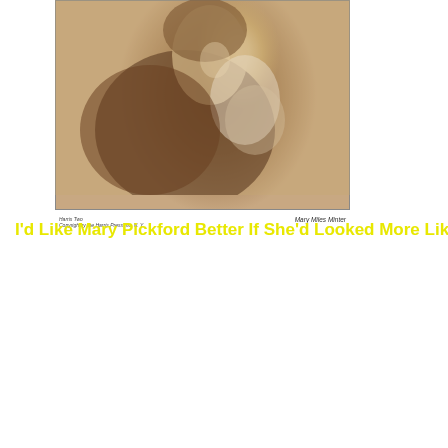[Figure (photo): Sepia-toned portrait photograph of Mary Miles Minter, a silent film actress, shown from roughly the waist up, wearing draped clothing with ruffled/lacy neckline detail, looking upward. Small caption text below reads 'Mary Miles Minter' on the right and smaller text on the left.]
I'd Like Mary Pickford Better If She'd Looked More Like This